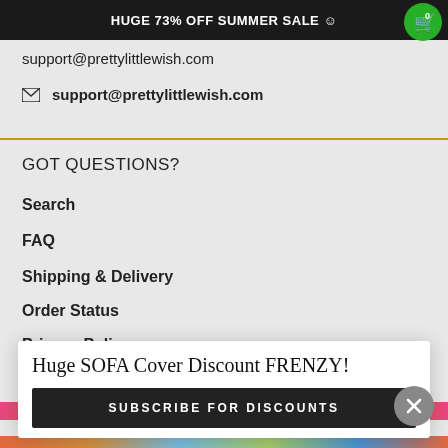HUGE 73% OFF SUMMER SALE 😊
support@prettylittlewish.com
✉ support@prettylittlewish.com
GOT QUESTIONS?
Search
FAQ
Shipping & Delivery
Order Status
Privacy Policy
Term and Conditions
Size and Installation Guide
Huge SOFA Cover Discount FRENZY!
SUBSCRIBE FOR DISCOUNTS